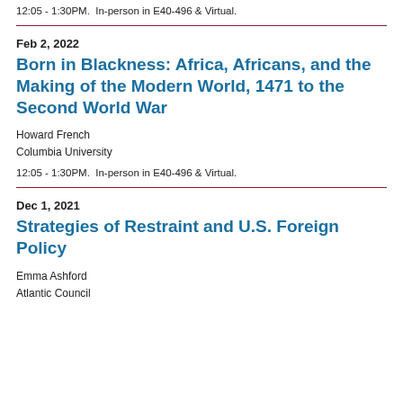12:05 - 1:30PM.  In-person in E40-496 & Virtual.
Feb 2, 2022
Born in Blackness: Africa, Africans, and the Making of the Modern World, 1471 to the Second World War
Howard French
Columbia University
12:05 - 1:30PM.  In-person in E40-496 & Virtual.
Dec 1, 2021
Strategies of Restraint and U.S. Foreign Policy
Emma Ashford
Atlantic Council